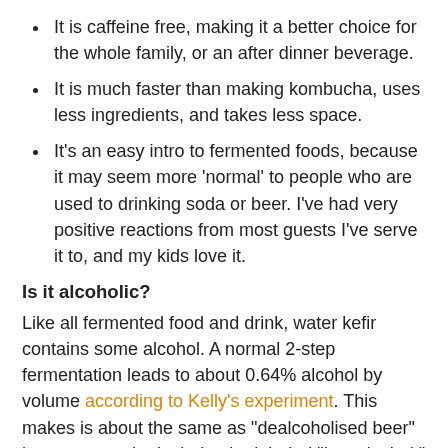It is caffeine free, making it a better choice for the whole family, or an after dinner beverage.
It is much faster than making kombucha, uses less ingredients, and takes less space.
It's an easy intro to fermented foods, because it may seem more 'normal' to people who are used to drinking soda or beer. I've had very positive reactions from most guests I've serve it to, and my kids love it.
Is it alcoholic?
Like all fermented food and drink, water kefir contains some alcohol. A normal 2-step fermentation leads to about 0.64% alcohol by volume according to Kelly's experiment. This makes is about the same as "dealcoholised beer" but not enough alcohol to be labeled "low-alcohol." I haven't asked any Mormons or Muslims, but all the "natural parenting" people I've communicated with have no problem giving their kids lots of kefir. I put my water kefir in the fridge on it's second or third day. This slows the fermentation, but doesn't stop it completely. After another day in the fridge I usually